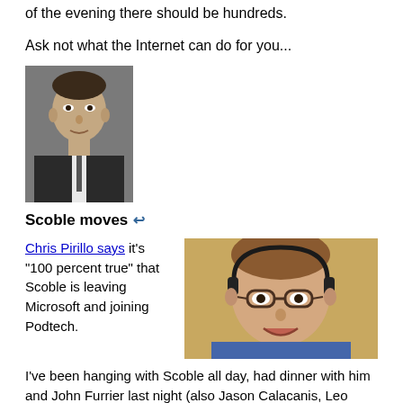of the evening there should be hundreds.
Ask not what the Internet can do for you...
[Figure (photo): Black and white photo of John F. Kennedy]
Scoble moves
Chris Pirillo says it's "100 percent true" that Scoble is leaving Microsoft and joining Podtech.
[Figure (photo): Photo of a man with glasses and headset, wearing a blue shirt]
I've been hanging with Scoble all day, had dinner with him and John Furrier last night (also Jason Calacanis, Leo Laporte, Steve Gillmor, Janice Fraser, Maryam Scoble, Chris Alden and Amber Dawn MacArthur). I've been all around this deal, so close to it, it's hard to comment.
Scoble is my friend, has been for many years. We've had ups and downs, lately it's been up after being really down. I didn't like how Microsoft was changing our relationship, and I told him so, really clearly. You can only be at such a large